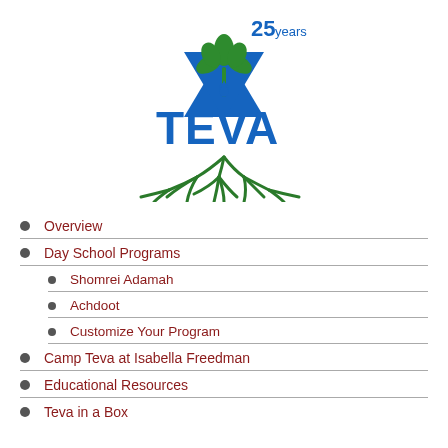[Figure (logo): TEVA logo with Star of David, plant/leaves, water drop, roots, and '25 years' text in blue and green]
Overview
Day School Programs
Shomrei Adamah
Achdoot
Customize Your Program
Camp Teva at Isabella Freedman
Educational Resources
Teva in a Box